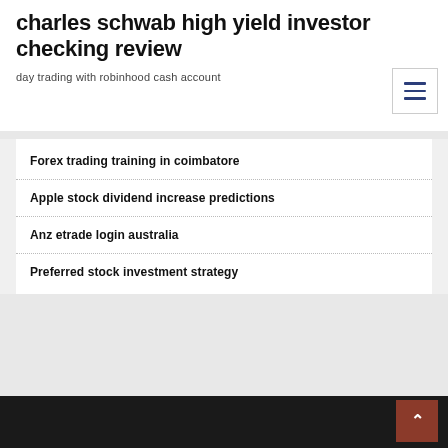charles schwab high yield investor checking review
day trading with robinhood cash account
Forex trading training in coimbatore
Apple stock dividend increase predictions
Anz etrade login australia
Preferred stock investment strategy